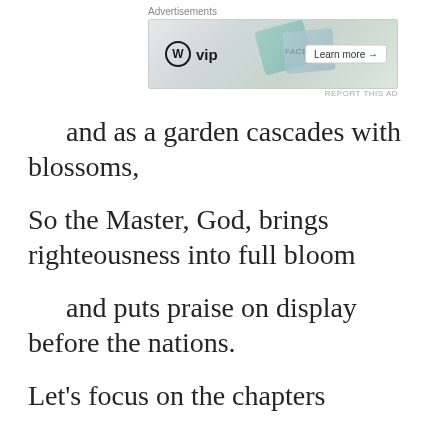[Figure (other): WordPress VIP advertisement banner with colorful cards in background and 'Learn more →' button]
and as a garden cascades with blossoms,
So the Master, God, brings righteousness into full bloom
and puts praise on display before the nations.
Let's focus on the chapters